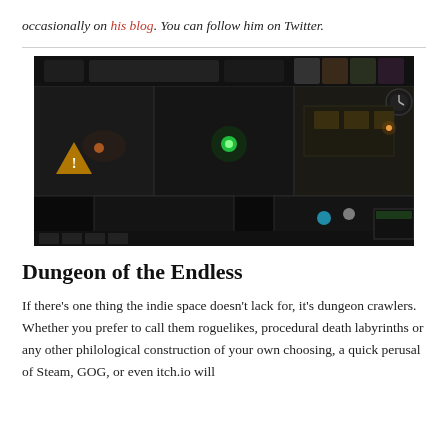occasionally on his blog. You can follow him on Twitter.
[Figure (screenshot): Screenshot of Dungeon of the Endless game showing top-down view of dungeon rooms with characters and enemies, dark atmosphere with colored lighting effects and UI elements.]
Dungeon of the Endless
If there’s one thing the indie space doesn’t lack for, it’s dungeon crawlers. Whether you prefer to call them roguelikes, procedural death labyrinths or any other philological construction of your own choosing, a quick perusal of Steam, GOG, or even itch.io will